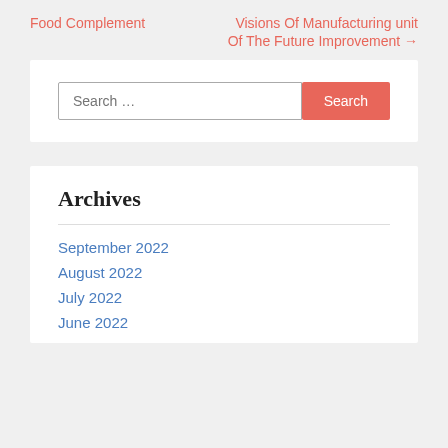Food Complement
Visions Of Manufacturing unit Of The Future Improvement →
Search …
Archives
September 2022
August 2022
July 2022
June 2022